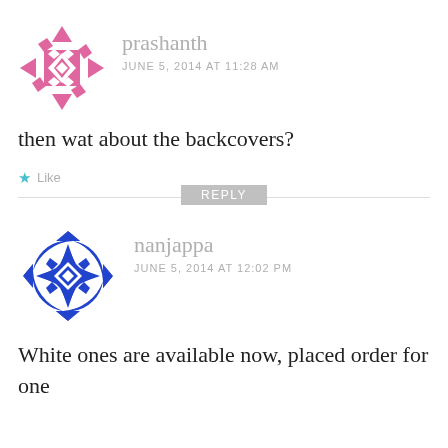[Figure (illustration): Pink geometric avatar/icon for user prashanth — diamond/quilt pattern in pink and white]
prashanth
JUNE 5, 2014 AT 11:28 AM
then wat about the backcovers?
Like
REPLY
[Figure (illustration): Blue geometric avatar/icon for user nanjappa — snowflake/star pattern in blue and white]
nanjappa
JUNE 5, 2014 AT 12:02 PM
White ones are available now, placed order for one